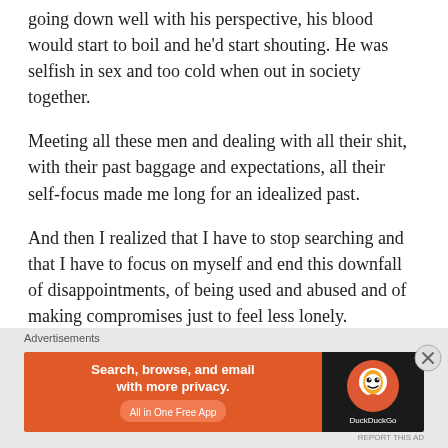going down well with his perspective, his blood would start to boil and he'd start shouting. He was selfish in sex and too cold when out in society together.
Meeting all these men and dealing with all their shit, with their past baggage and expectations, all their self-focus made me long for an idealized past.
And then I realized that I have to stop searching and that I have to focus on myself and end this downfall of disappointments, of being used and abused and of making compromises just to feel less lonely.
From now on, it's all going to be about me, about self-love and improvement. If anything else comes up on this path, I will be open for it, but I will not make it my
[Figure (screenshot): DuckDuckGo advertisement banner: orange left section with text 'Search, browse, and email with more privacy. All in One Free App' and dark right section with DuckDuckGo logo and brand name.]